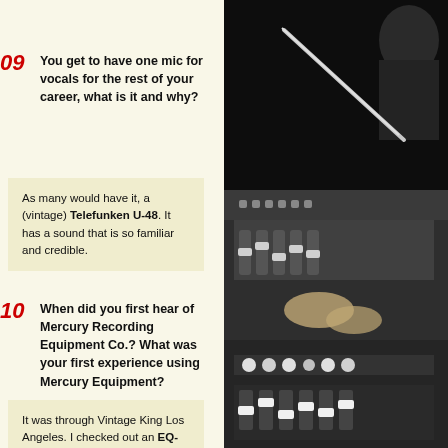09  You get to have one mic for vocals for the rest of your career, what is it and why?
As many would have it, a (vintage) Telefunken U-48. It has a sound that is so familiar and credible.
10  When did you first hear of Mercury Recording Equipment Co.? What was your first experience using Mercury Equipment?
It was through Vintage King Los Angeles. I checked out an EQ-P1
[Figure (photo): Black and white photograph of a recording studio mixing console with hands operating faders and knobs]